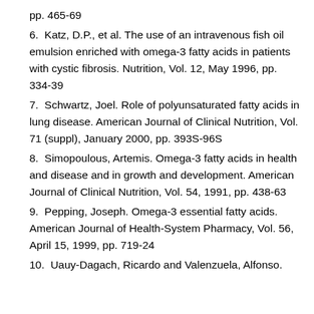pp. 465-69
6.  Katz, D.P., et al. The use of an intravenous fish oil emulsion enriched with omega-3 fatty acids in patients with cystic fibrosis. Nutrition, Vol. 12, May 1996, pp. 334-39
7.  Schwartz, Joel. Role of polyunsaturated fatty acids in lung disease. American Journal of Clinical Nutrition, Vol. 71 (suppl), January 2000, pp. 393S-96S
8.  Simopoulous, Artemis. Omega-3 fatty acids in health and disease and in growth and development. American Journal of Clinical Nutrition, Vol. 54, 1991, pp. 438-63
9.  Pepping, Joseph. Omega-3 essential fatty acids. American Journal of Health-System Pharmacy, Vol. 56, April 15, 1999, pp. 719-24
10.  Uauy-Dagach, Ricardo and Valenzuela, Alfonso.